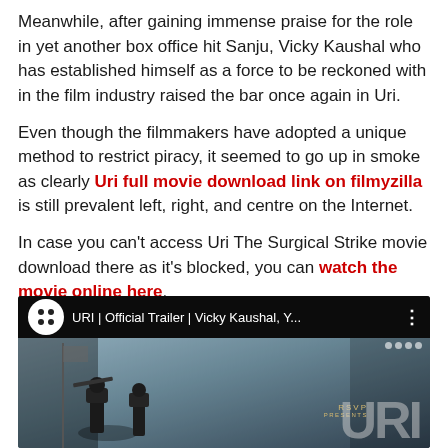Meanwhile, after gaining immense praise for the role in yet another box office hit Sanju, Vicky Kaushal who has established himself as a force to be reckoned with in the film industry raised the bar once again in Uri.
Even though the filmmakers have adopted a unique method to restrict piracy, it seemed to go up in smoke as clearly Uri full movie download link on filmyzilla is still prevalent left, right, and centre on the Internet.
In case you can't access Uri The Surgical Strike movie download there as it's blocked, you can watch the movie online here.
Check out the trailer below:
[Figure (screenshot): YouTube video thumbnail showing URI | Official Trailer | Vicky Kaushal, Y... with a dark top bar, white circle with dots icon, and a cinematic movie still with soldiers and URI title text and RSVP Presents branding]